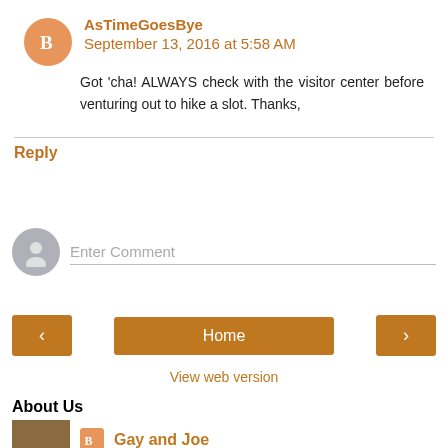AsTimeGoesBye September 13, 2016 at 5:58 AM
Got 'cha! ALWAYS check with the visitor center before venturing out to hike a slot. Thanks,
Reply
Enter Comment
Home
View web version
About Us
Gay and Joe